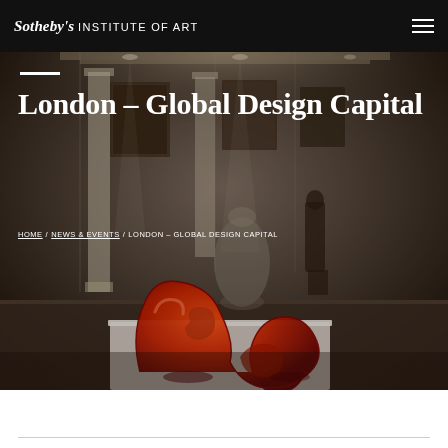Sotheby's INSTITUTE OF ART
[Figure (photo): Interior of an art gallery/auction house showing a red sculptural chair in the foreground on a white plinth, with framed artworks, columns, and a person standing in the background. Dark moody atmosphere.]
London – Global Design Capital
HOME / NEWS & EVENTS / LONDON – GLOBAL DESIGN CAPITAL